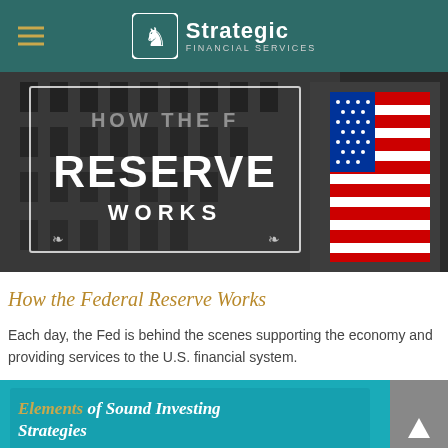Strategic Financial Services
[Figure (photo): Dark background photo of building facade with American flag and text overlay reading 'RESERVE WORKS' inside a decorative white border frame]
How the Federal Reserve Works
Each day, the Fed is behind the scenes supporting the economy and providing services to the U.S. financial system.
[Figure (photo): Teal/cyan colored book or publication cover reading 'Elements of Sound Investing Strategies' with a person visible at bottom]